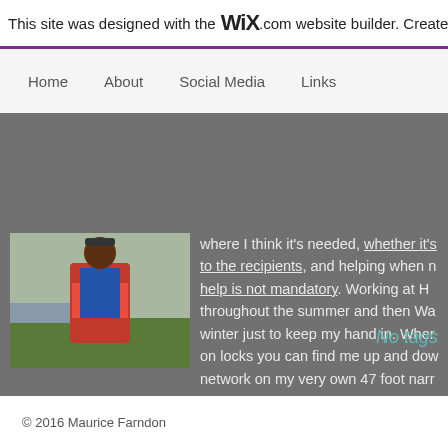This site was designed with the WiX.com website builder. Create yo
Home    About    Social Media    Links
[Figure (photo): Person wearing a red life jacket and blue shirt, standing outdoors near a waterway]
where I think it's needed, whether it's to the recipients, and helping when help is not mandatory. Working at H throughout the summer and then Wa winter just to keep my hand in. Wher on locks you can find me up and dow network on my very own 47 foot narr
No tags
© 2016 Maurice Farndon